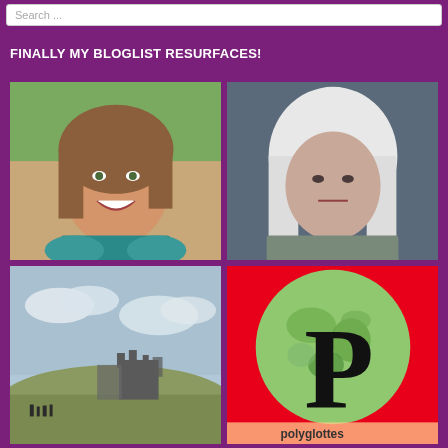Search ...
FINALLY MY BLOGLIST RESURFACES!
[Figure (photo): Smiling woman with brown hair wearing teal lace top, professional headshot outdoors]
[Figure (photo): Portrait painting of woman with white/blonde bob haircut, neutral expression]
[Figure (photo): Landscape photo of castle ruins on a hill with cloudy sky]
[Figure (logo): Polyglottes blog logo: large black P on a globe graphic, red background, text 'polyglottes' at bottom]